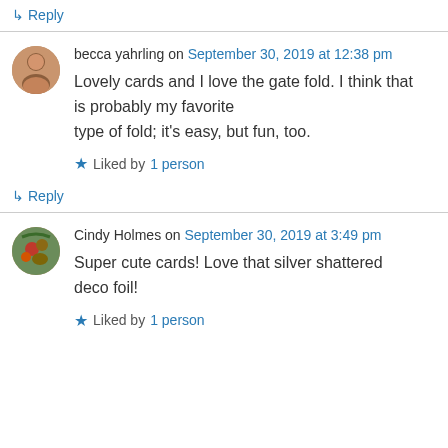↳ Reply
becca yahrling on September 30, 2019 at 12:38 pm
Lovely cards and I love the gate fold. I think that is probably my favorite type of fold; it's easy, but fun, too.
Liked by 1 person
↳ Reply
Cindy Holmes on September 30, 2019 at 3:49 pm
Super cute cards! Love that silver shattered deco foil!
Liked by 1 person